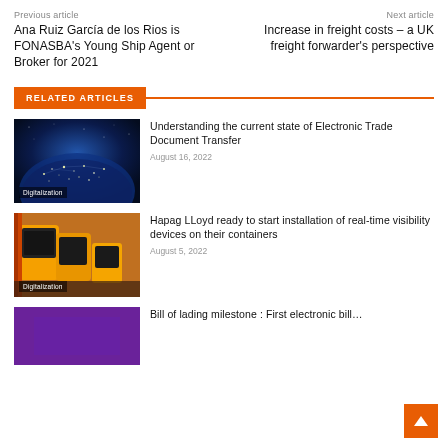Previous article | Next article
Ana Ruiz García de los Rios is FONASBA's Young Ship Agent or Broker for 2021
Increase in freight costs – a UK freight forwarder's perspective
RELATED ARTICLES
[Figure (photo): Earth from space at night showing city lights network, labeled Digitalization]
Understanding the current state of Electronic Trade Document Transfer
August 16, 2022
[Figure (photo): Yellow IoT tracking devices on a surface, labeled Digitalization]
Hapag LLoyd ready to start installation of real-time visibility devices on their containers
August 5, 2022
[Figure (photo): Purple/violet background image, partially visible]
Bill of lading milestone : First electronic bill…